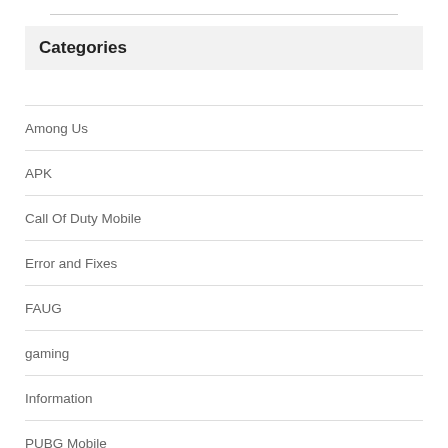Categories
Among Us
APK
Call Of Duty Mobile
Error and Fixes
FAUG
gaming
Information
PUBG Mobile
PUBG Mobile Lite
PUBG Mobile Updates
PUBG NEW State